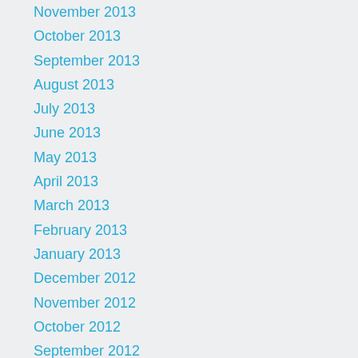November 2013
October 2013
September 2013
August 2013
July 2013
June 2013
May 2013
April 2013
March 2013
February 2013
January 2013
December 2012
November 2012
October 2012
September 2012
August 2012
July 2012
June 2012
May 2012
April 2012
March 2012
February 2012